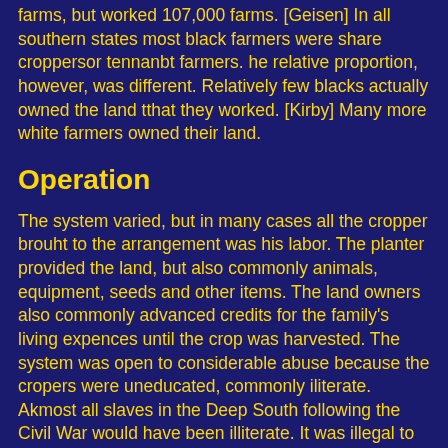farms, but worked 107,000 farms. [Geisen] In all southern states most black farmers were share croppersor tennanbt farmers. he relative proportion, however, was different. Relatively few blacks actually owned the land tthat they worked. [Kirby] Many more white farmers owned their land.
Operation
The system varied, but in many cases all the cropper brouht to the arrangement was his labor. The planter provided the land, but also commonly animals, equipment, seeds and other items. The land owners also commonly advanced credits for the family's living expences until the crop was harvested. The system was open to considerable abuse because the cropers were uneducated, commonly iliterate. Akmost all slaves in the Deep South following the Civil War would have been illiterate. It was illegal to teach slaves to read. By the 20th century black and white cropers would have had some minimal education, but iliteracy was still high. The land owner marketed the crop and kept all accounts. He charged interests on cash advances, often quite high interest. He also commonly operated a store where the cropers had to make their purchases. The normal arrangement was that the the croper got half the proceeds from the harvest. The landowner then deducted cash advances which because of high interest and dishonest accounting commonly left the croper very little.